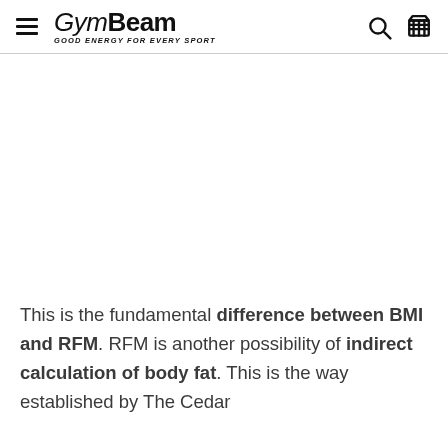GymBeam — GOOD ENERGY FOR EVERY SPORT
This is the fundamental difference between BMI and RFM. RFM is another possibility of indirect calculation of body fat. This is the way established by The Cedar